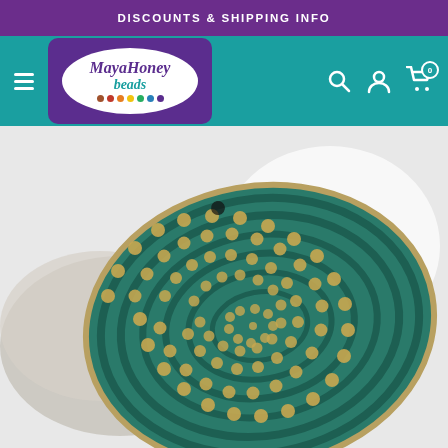DISCOUNTS & SHIPPING INFO
[Figure (logo): MayaHoney Beads logo — oval white background on purple rectangle, with colorful beads along the bottom]
[Figure (photo): Close-up photo of a large oval antiqued green/brass patina pendant with concentric circle and dot embossed pattern, resting on a white surface]